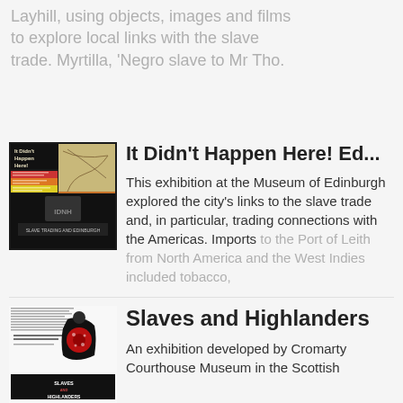Layhill, using objects, images and films to explore local links with the slave trade. Myrtilla, 'Negro slave to Mr Tho.
[Figure (illustration): Book/exhibition cover for 'It Didn't Happen Here!' showing a dark poster with text about the triangular trade and a map illustration, colored sections in red, orange, yellow with text about slave trading and Edinburgh.]
It Didn't Happen Here! Ed...
This exhibition at the Museum of Edinburgh explored the city's links to the slave trade and, in particular, trading connections with the Americas. Imports to the Port of Leith from North America and the West Indies included tobacco,
[Figure (illustration): Exhibition poster for 'Slaves and Highlanders' by Cromarty Courthouse Museum, showing a figure in traditional Scottish dress with a red poppy or flower motif, black and red color scheme with small text details about the exhibition dates.]
Slaves and Highlanders
An exhibition developed by Cromarty Courthouse Museum in the Scottish